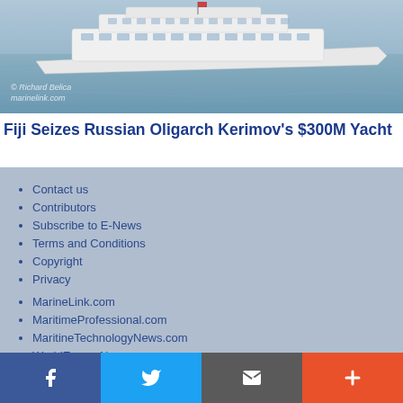[Figure (photo): Large white luxury yacht on blue-grey ocean water, aerial/side view]
Fiji Seizes Russian Oligarch Kerimov's $300M Yacht
Contact us
Contributors
Subscribe to E-News
Terms and Conditions
Copyright
Privacy
MarineLink.com
MaritimeProfessional.com
MaritineTechnologyNews.com
WorldEnergyNews.com
MaritimeJobs.com
YachtingJournal.com